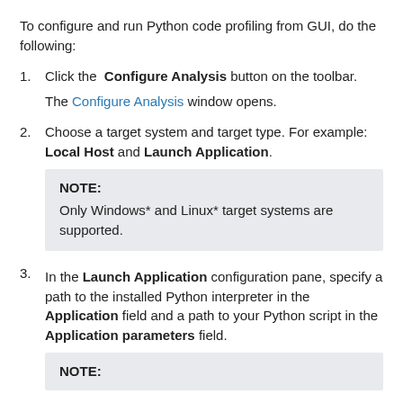To configure and run Python code profiling from GUI, do the following:
1. Click the Configure Analysis button on the toolbar.

The Configure Analysis window opens.
2. Choose a target system and target type. For example: Local Host and Launch Application.
NOTE:
Only Windows* and Linux* target systems are supported.
3. In the Launch Application configuration pane, specify a path to the installed Python interpreter in the Application field and a path to your Python script in the Application parameters field.
NOTE: